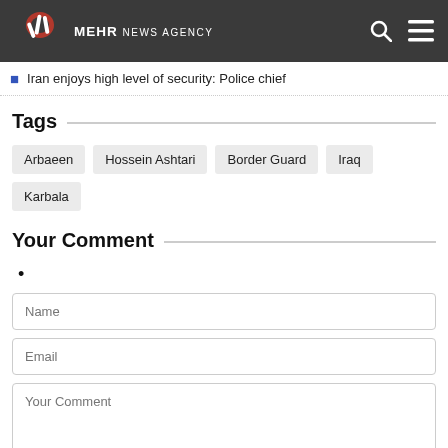MEHR NEWS AGENCY
Iran enjoys high level of security: Police chief
Tags
Arbaeen  Hossein Ashtari  Border Guard  Iraq  Karbala
Your Comment
•
Name
Email
Your Comment